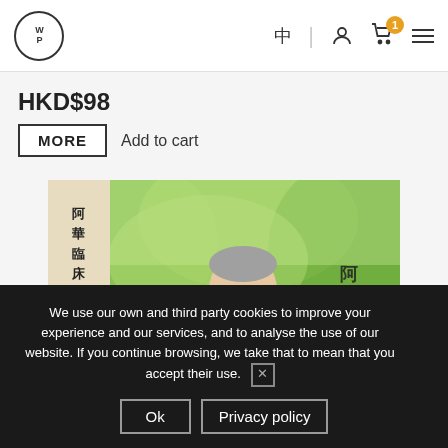WP logo | 中 | user icon | cart (1) | menu
HKD$98
MORE  Add to cart
[Figure (photo): Book cover showing a smiling man with glasses in a white jacket holding an open book, standing outdoors among green trees. Chinese calligraphy text on the left side of the cover.]
We use our own and third party cookies to improve your experience and our services, and to analyse the use of our website. If you continue browsing, we take that to mean that you accept their use.
Ok  Privacy policy